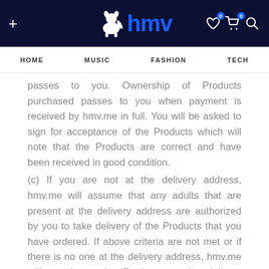hmv - navigation bar with HOME, MUSIC, FASHION, TECH
passes to you. Ownership of Products purchased passes to you when payment is received by hmv.me in full. You will be asked to sign for acceptance of the Products which will note that the Products are correct and have been received in good condition.
(c) If you are not at the delivery address, hmv.me will assume that any adults that are present at the delivery address are authorized by you to take delivery of the Products that you have ordered. If above criteria are not met or if there is no one at the delivery address, hmv.me will not leave the Products at the delivery address, hmv.me will